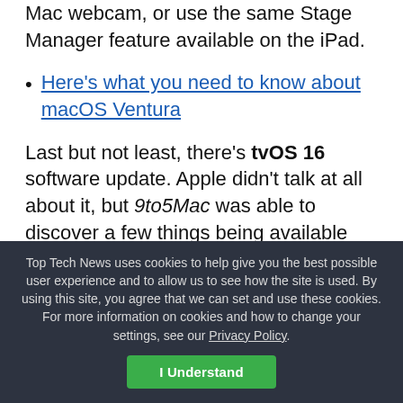Mac webcam, or use the same Stage Manager feature available on the iPad.
Here's what you need to know about macOS Ventura
Last but not least, there's tvOS 16 software update. Apple didn't talk at all about it, but 9to5Mac was able to discover a few things being available later this fall.
For example, Nintendo Switch controllers will now be compatible with the operating system. HDR10+ support will also be available, as well as a video-forward featuring
Top Tech News uses cookies to help give you the best possible user experience and to allow us to see how the site is used. By using this site, you agree that we can set and use these cookies. For more information on cookies and how to change your settings, see our Privacy Policy.